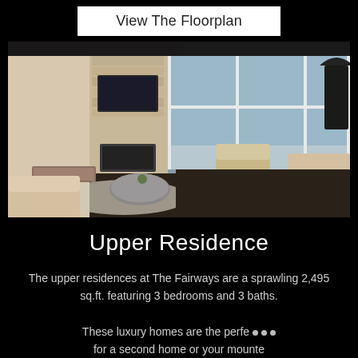View The Floorplan
[Figure (photo): Interior photo of a modern luxury living room with high ceilings, stone fireplace, TV mounted above fireplace, large floor-to-ceiling windows with mountain/scenic view, round coffee table, tan/beige sofas and chairs, dark hardwood floors, shag rug, and a lamp to the right.]
Upper Residence
The upper residences at The Fairways are a sprawling 2,495 sq.ft. featuring 3 bedrooms and 3 baths.
These luxury homes are the perfe... for a second home or your mounte getaway for you to enjoy Bozeman and